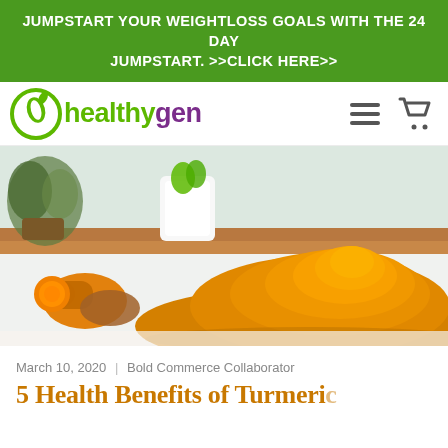JUMPSTART YOUR WEIGHTLOSS GOALS WITH THE 24 DAY JUMPSTART. >>CLICK HERE>>
[Figure (logo): HealthyGen logo with green leaf circle icon and purple/green wordmark]
[Figure (photo): Photo of turmeric root pieces and a pile of golden turmeric powder on a white surface, with a bright kitchen background featuring plants and a wooden counter]
March 10, 2020 | Bold Commerce Collaborator
5 Health Benefits of Turmeric